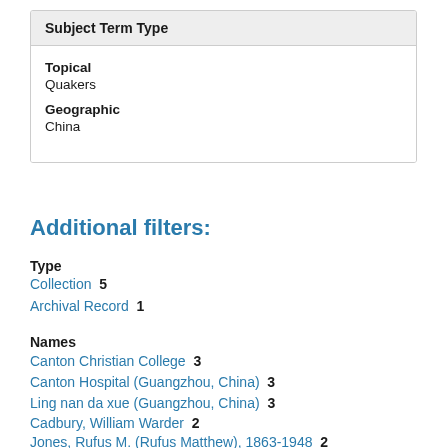| Subject Term Type |
| --- |
| Topical | Quakers |
| Geographic | China |
Additional filters:
Type
Collection 5
Archival Record 1
Names
Canton Christian College 3
Canton Hospital (Guangzhou, China) 3
Ling nan da xue (Guangzhou, China) 3
Cadbury, William Warder 2
Jones, Rufus M. (Rufus Matthew), 1863-1948 2